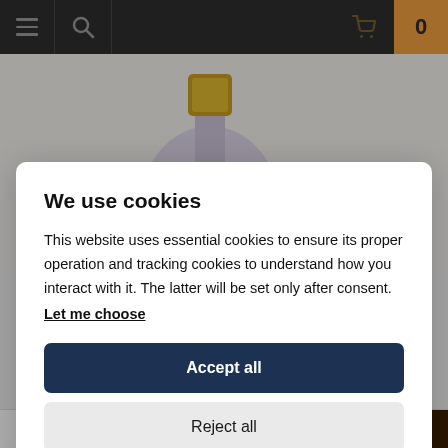[Figure (screenshot): E-commerce website navigation bar with hamburger menu, search icon, cart icon, and orange badge showing 0]
[Figure (photo): A lavender/grey perfume bottle with gold cap, labeled 'EAU DE PARFUM', displayed on a light background]
We use cookies
This website uses essential cookies to ensure its proper operation and tracking cookies to understand how you interact with it. The latter will be set only after consent.
Let me choose
Accept all
Reject all